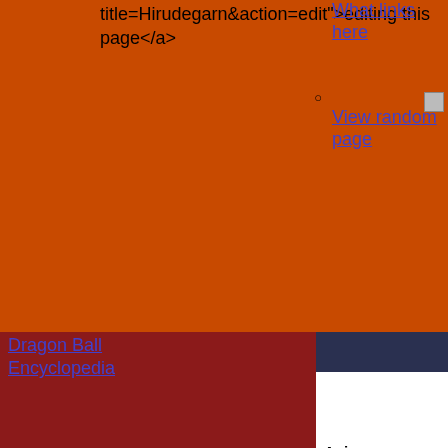title=Hirudegarn&action=edit">editing this page</a>
What links here
View random page
Dragon Ball Encyclopedia
| Hirudegarn |  |
| [Malik210.jpg] |  |
| ヒルデガーン |  |
| Hirudegān |  |
| Anime name | Hirudegarn (FUNimation dub) |
| Alternate name | Hildegarn
Hirudegan (??) |
| Debut | Film: Dragon Ball Z: Wrath of the Dragon |
| Appears in | [DB film logo.png] [Nuvola apps package games.png] |
| Named in | Film: Dragon Ball Z: Wrath of the Dragon |